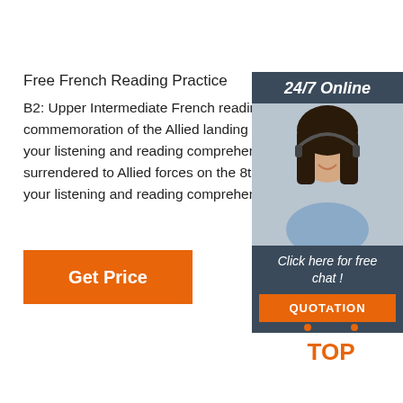Free French Reading Practice
B2: Upper Intermediate French reading exercises. W commemoration of the Allied landing in Normandy, v your listening and reading comprehension. Learn ab surrendered to Allied forces on the 8th of May 1945, your listening and reading comprehension.
[Figure (screenshot): Orange 'Get Price' button]
[Figure (infographic): Ad panel with 24/7 Online label, woman with headset photo, 'Click here for free chat!' text, and orange QUOTATION button]
[Figure (logo): Orange TOP logo with dots forming a triangle above the word TOP]